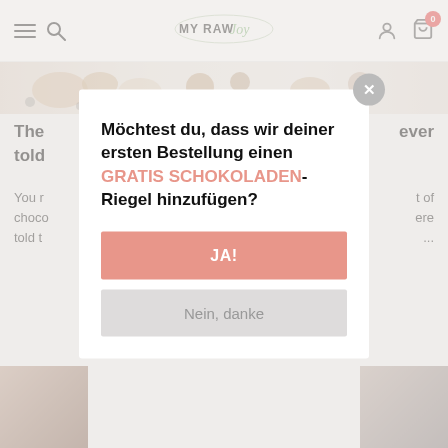MY RAW Joy
[Figure (screenshot): Website header with hamburger menu, search icon, MY RAW Joy logo, user icon, and cart icon with badge 0]
[Figure (photo): Strip of nuts and chocolate pieces on light background]
The ... ever told
You m... t of choco...ere told t...
Möchtest du, dass wir deiner ersten Bestellung einen GRATIS SCHOKOLADEN-Riegel hinzufügen?
JA!
Nein, danke